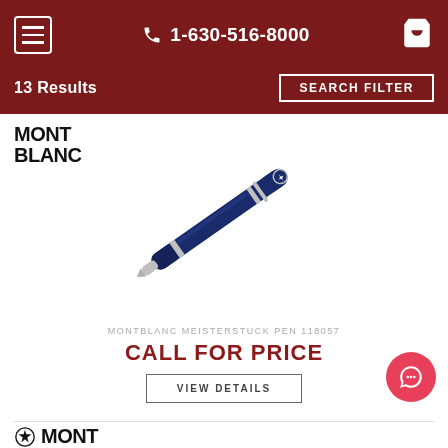1-630-516-8000
13 Results
SEARCH FILTER
[Figure (logo): Mont Blanc brand logo in black bold text, two lines: MONT BLANC]
[Figure (photo): A dark navy blue Montblanc Meisterstuck ballpoint pen angled diagonally from lower-left to upper-right with silver trim accents]
MONTBLANC MEISTERSTUCK PEN 118057
CALL FOR PRICE
VIEW DETAILS
[Figure (logo): Mont Blanc brand logo partially visible at bottom, two lines: MONT with star emblem]